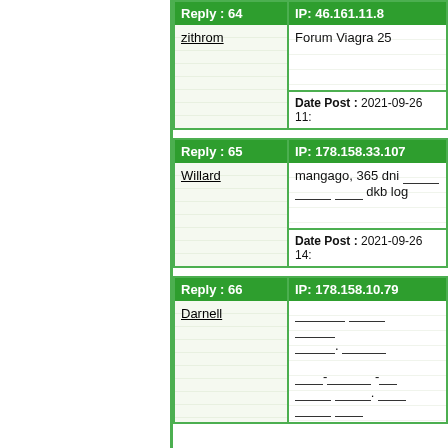| Reply : 64 | IP: 46.161.11.8 |
| --- | --- |
| zithrom | Forum Viagra 25 |
|  | Date Post : 2021-09-26 11: |
| Reply : 65 | IP: 178.158.33.107 |
| --- | --- |
| Willard | mangago, 365 dni ___ __ ___ ___ dkb log |
|  | Date Post : 2021-09-26 14: |
| Reply : 66 | IP: 178.158.10.79 |
| --- | --- |
| Darnell | ___ ___ ___ ___ . ___ ___ - ___ ___ ___ . ___ ___ ___ |